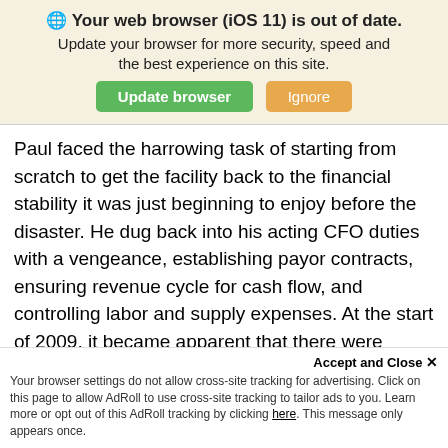[Figure (screenshot): Browser update notification banner with globe icon, bold title 'Your web browser (iOS 11) is out of date.', subtitle text, and two buttons: 'Update browser' (green) and 'Ignore' (orange)]
Paul faced the harrowing task of starting from scratch to get the facility back to the financial stability it was just beginning to enjoy before the disaster. He dug back into his acting CFO duties with a vengeance, establishing payor contracts, ensuring revenue cycle for cash flow, and controlling labor and supply expenses. At the start of 2009, it became apparent that there were issues that needed to be addressed at Munster, and they were the types of issues that required the assistance of a CEO. In order to grow, the hospital needed to ramp up its physician recruitment
Accept and Close ✕
Your browser settings do not allow cross-site tracking for advertising. Click on this page to allow AdRoll to use cross-site tracking to tailor ads to you. Learn more or opt out of this AdRoll tracking by clicking here. This message only appears once.